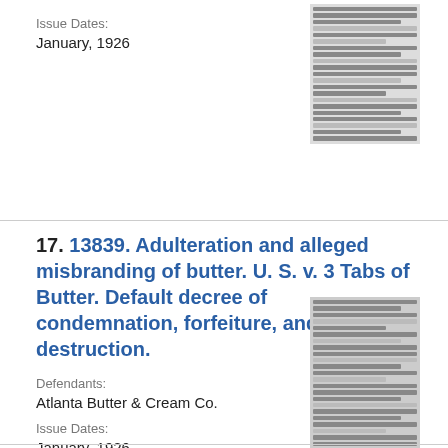Ward's Cove Packing Co.
Issue Dates:
January, 1926
[Figure (other): Thumbnail image of a document page]
17. 13839. Adulteration and alleged misbranding of butter. U. S. v. 3 Tabs of Butter. Default decree of condemnation, forfeiture, and destruction.
Defendants:
Atlanta Butter & Cream Co.
Issue Dates:
January, 1926
[Figure (other): Thumbnail image of a document page]